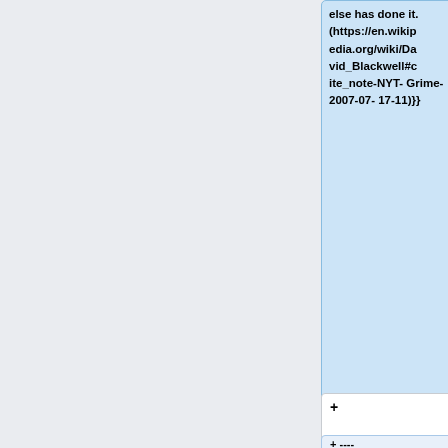else has done it. (https://en.wikipedia.org/wiki/David_Blackwell#cite_note-NYT-Grime-2007-07-17-11)}}
+
+ ----
== ==
== ==
Line 88:
Line 150:
==Chesterton, G. K.==
==Chesterton, G. K.==
{{Quotation|Peop
*